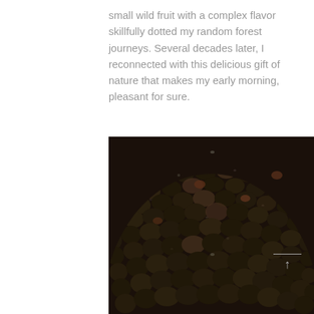small wild fruit with a complex flavor skillfully dotted my random forest journeys. Several decades later, I reconnected with this delicious gift of nature that makes my early morning, pleasant for sure.
[Figure (photo): Close-up photo of a large pile of small dark wild berries or seeds, appearing black and dark brown, piled in a mound shape against a white background.]